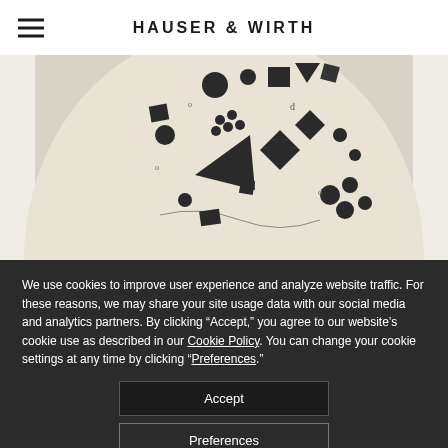HAUSER & WIRTH
[Figure (illustration): Close-up of a circular artwork on cream/beige background featuring various geometric shapes (circles, triangles, squares, diamonds, rectangles) scattered across the surface in dark ink, reminiscent of abstract Constructivist art]
We use cookies to improve user experience and analyze website traffic. For these reasons, we may share your site usage data with our social media and analytics partners. By clicking “Accept,” you agree to our website’s cookie use as described in our Cookie Policy. You can change your cookie settings at any time by clicking “Preferences.”
Accept
Preferences